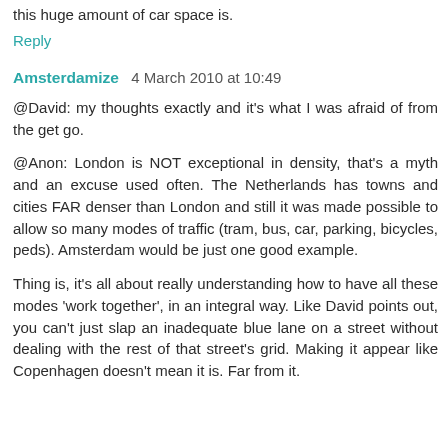this huge amount of car space is.
Reply
Amsterdamize  4 March 2010 at 10:49
@David: my thoughts exactly and it's what I was afraid of from the get go.
@Anon: London is NOT exceptional in density, that's a myth and an excuse used often. The Netherlands has towns and cities FAR denser than London and still it was made possible to allow so many modes of traffic (tram, bus, car, parking, bicycles, peds). Amsterdam would be just one good example.
Thing is, it's all about really understanding how to have all these modes 'work together', in an integral way. Like David points out, you can't just slap an inadequate blue lane on a street without dealing with the rest of that street's grid. Making it appear like Copenhagen doesn't mean it is. Far from it.